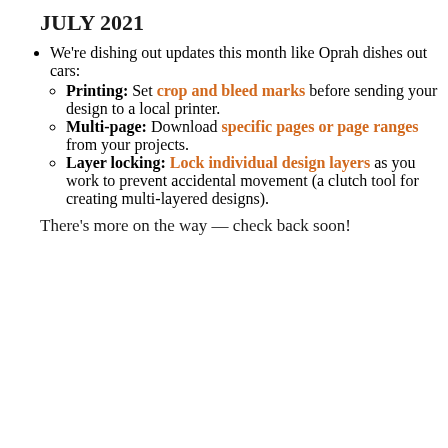JULY 2021
We're dishing out updates this month like Oprah dishes out cars:
Printing: Set crop and bleed marks before sending your design to a local printer.
Multi-page: Download specific pages or page ranges from your projects.
Layer locking: Lock individual design layers as you work to prevent accidental movement (a clutch tool for creating multi-layered designs).
There's more on the way — check back soon!